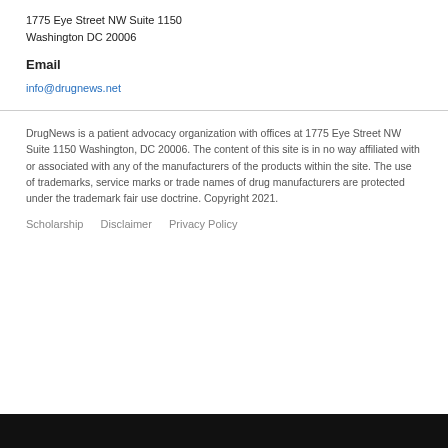1775 Eye Street NW Suite 1150
Washington DC 20006
Email
info@drugnews.net
DrugNews is a patient advocacy organization with offices at 1775 Eye Street NW Suite 1150 Washington, DC 20006. The content of this site is in no way affiliated with or associated with any of the manufacturers of the products within the site. The use of trademarks, service marks or trade names of drug manufacturers are protected under the trademark fair use doctrine. Copyright 2021.
Scholarship   Disclaimer   Privacy Policy